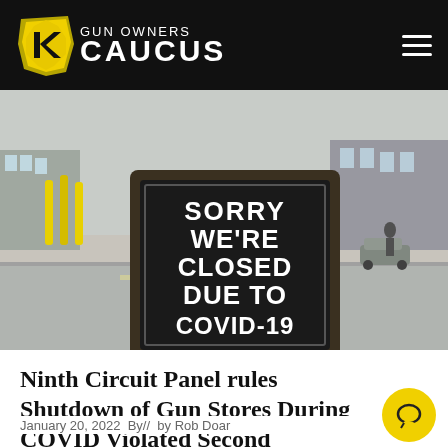GUN OWNERS CAUCUS
[Figure (photo): Street scene photo with an A-frame sidewalk sign reading 'SORRY WE'RE CLOSED DUE TO COVID-19' in white bold text on a black chalkboard background. The street behind shows a quiet urban environment with yellow poles and parked cars.]
Ninth Circuit Panel rules Shutdown of Gun Stores During COVID Violated Second Amendment
January 20, 2022  By//  by Rob Doar